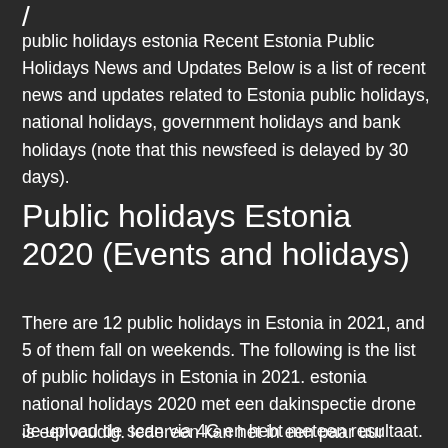public holidays estonia Recent Estonia Public Holidays News and Updates Below is a list of recent news and updates related to Estonia public holidays, national holidays, government holidays and bank holidays (note that this newsfeed is delayed by 30 days).
Public holidays Estonia 2020 (Events and holidays)
There are 12 public holidays in Estonia in 2021, and 5 of them fall on weekends. The following is the list of public holidays in Estonia in 2021. estonia national holidays 2020 met een dakinspectie drone is eenvoudig. Iedereen kan het in een paar uur leren.
Je upload de scan via 4G en hebt meteen resultaat.